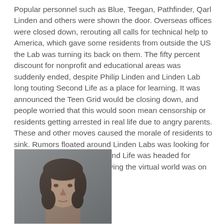Popular personnel such as Blue, Teegan, Pathfinder, Qarl Linden and others were shown the door. Overseas offices were closed down, rerouting all calls for technical help to America, which gave some residents from outside the US the Lab was turning its back on them. The fifty percent discount for nonprofit and educational areas was suddenly ended, despite Philip Linden and Linden Lab long touting Second Life as a place for learning. It was announced the Teen Grid would be closing down, and people worried that this would soon mean censorship or residents getting arrested in real life due to angry parents. These and other moves caused the morale of residents to sink. Rumors floated around Linden Labs was looking for a buyer. Some thought Second Life was headed for collapse, one publication saying the virtual world was on it's "death throes."
[Figure (photo): Headshot photo of a man with medium-length dark hair, facing slightly to the right, against a gray background.]